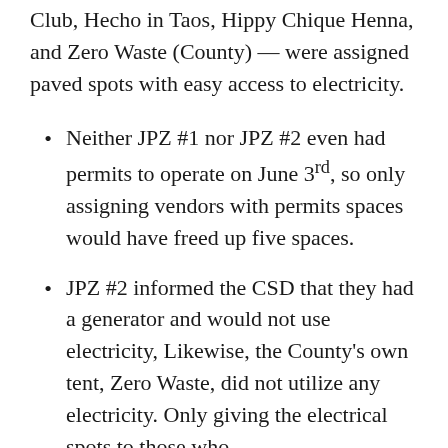Club, Hecho in Taos, Hippy Chique Henna, and Zero Waste (County) — were assigned paved spots with easy access to electricity.
Neither JPZ #1 nor JPZ #2 even had permits to operate on June 3rd, so only assigning vendors with permits spaces would have freed up five spaces.
JPZ #2 informed the CSD that they had a generator and would not use electricity, Likewise, the County's own tent, Zero Waste, did not utilize any electricity. Only giving the electrical spots to those who